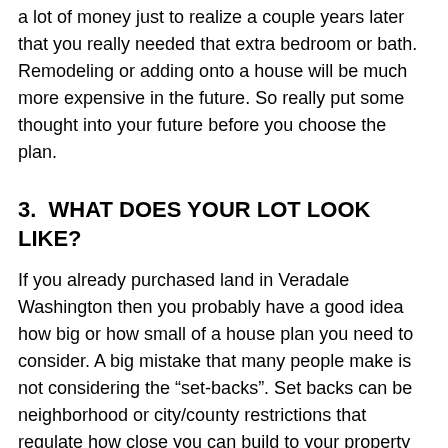a lot of money just to realize a couple years later that you really needed that extra bedroom or bath. Remodeling or adding onto a house will be much more expensive in the future. So really put some thought into your future before you choose the plan.
3.  WHAT DOES YOUR LOT LOOK LIKE?
If you already purchased land in Veradale Washington then you probably have a good idea how big or how small of a house plan you need to consider. A big mistake that many people make is not considering the "set-backs". Set backs can be neighborhood or city/county restrictions that regulate how close you can build to your property line. These restrictions can be listed in your neighborhood covenants and restrictions. They can be obtained from your local building department that regulates your area.
Keep in mind that if you live in the county, you may have a planning and zoning office that is separate from the city zoning office. If you are unsure just give them a call. Tell them where your lot is or where you plan to build and ask how to obtain a copy of the "set-back"